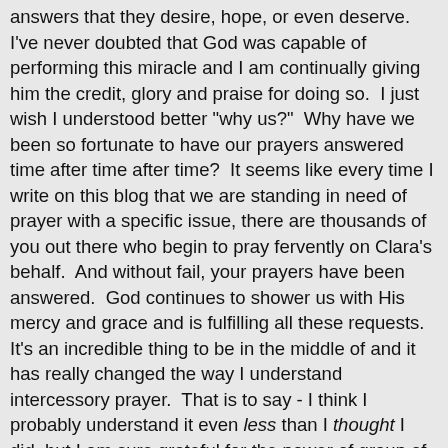answers that they desire, hope, or even deserve. I've never doubted that God was capable of performing this miracle and I am continually giving him the credit, glory and praise for doing so.  I just wish I understood better "why us?"  Why have we been so fortunate to have our prayers answered time after time after time?  It seems like every time I write on this blog that we are standing in need of prayer with a specific issue, there are thousands of you out there who begin to pray fervently on Clara's behalf.  And without fail, your prayers have been answered.  God continues to shower us with His mercy and grace and is fulfilling all these requests.  It's an incredible thing to be in the middle of and it has really changed the way I understand intercessory prayer.  That is to say - I think I probably understand it even less than I thought I did, but I am sure grateful for the power of group of people diligently asking God and expecting His blessings.  I know it's a miracle to watch Clara getting better and stronger and more alert and healthy each day.  But I'm also just amazed at the miracle of prayer.  I've never experienced anything like this before and it's changing my heart to see how God has heard your cries and pleas and is responding to them time after time.  It is so cliche to say, but I just can't think of any other words and it's ringing truer for